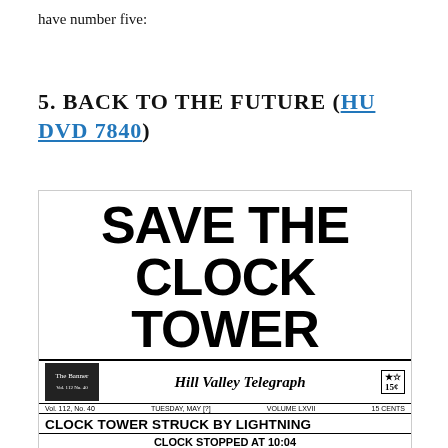have number five:
5. BACK TO THE FUTURE (HU DVD 7840)
[Figure (illustration): Newspaper-style illustration showing 'SAVE THE CLOCK TOWER' as a large bold headline above an image of the Hill Valley Telegraph newspaper front page, with subheadings 'CLOCK TOWER STRUCK BY LIGHTNING' and 'CLOCK STOPPED AT 10:04', along with a photo of the clock tower building and columns of text.]